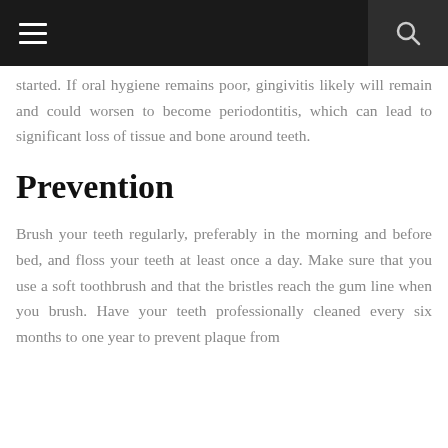[Navigation bar with hamburger menu and search icon]
started. If oral hygiene remains poor, gingivitis likely will remain and could worsen to become periodontitis, which can lead to significant loss of tissue and bone around teeth.
Prevention
Brush your teeth regularly, preferably in the morning and before bed, and floss your teeth at least once a day. Make sure that you use a soft toothbrush and that the bristles reach the gum line when you brush. Have your teeth professionally cleaned every six months to one year to prevent plaque from